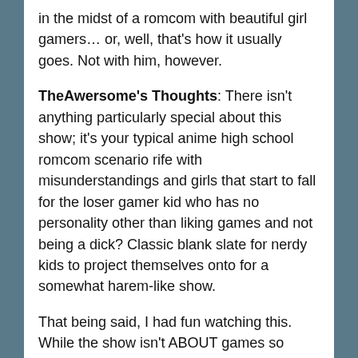in the midst of a romcom with beautiful girl gamers… or, well, that's how it usually goes. Not with him, however.
TheAwersome's Thoughts: There isn't anything particularly special about this show; it's your typical anime high school romcom scenario rife with misunderstandings and girls that start to fall for the loser gamer kid who has no personality other than liking games and not being a dick? Classic blank slate for nerdy kids to project themselves onto for a somewhat harem-like show.
That being said, I had fun watching this. While the show isn't ABOUT games so much as just having games be the setting, there are a good number of conversations about gaming and gamers that are actually quite relevant. One theme that I did like